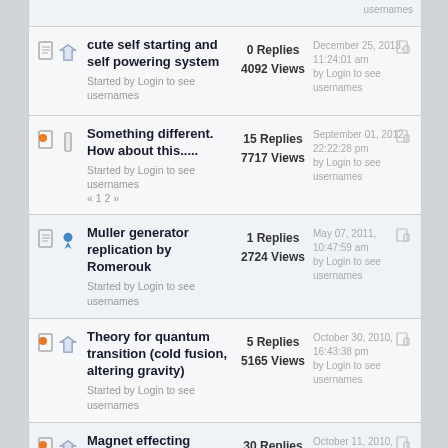cute self starting and self powering system — Started by Login to see usernames — 0 Replies, 4092 Views — December 25, 2013, 11:24:01 am by Login to see usernames
Something different. How about this..... — Started by Login to see usernames « 1 2 » — 15 Replies, 7717 Views — September 01, 2012, 22:22:28 pm by Login to see usernames
Muller generator replication by Romerouk — Started by Login to see usernames — 1 Replies, 2724 Views — May 07, 2011, 10:47:59 am by Login to see usernames
Theory for quantum transition (cold fusion, altering gravity) — Started by Login to see usernames — 5 Replies, 5165 Views — October 30, 2010, 16:43:38 pm by Login to see usernames
Magnet effecting Unipolar Pulses on toroidal Core — Started by Login to see usernames — 30 Replies — October 11, 2010, 04:54:45 am